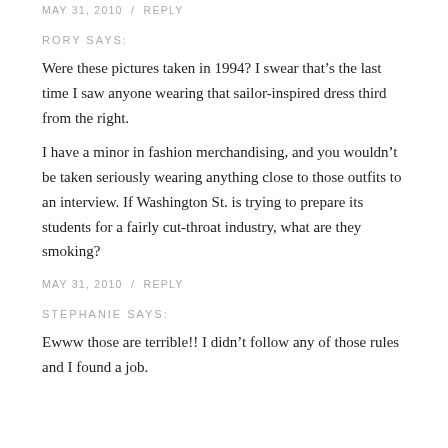MAY 31, 2010 / REPLY
RORY SAYS:
Were these pictures taken in 1994? I swear that’s the last time I saw anyone wearing that sailor-inspired dress third from the right.
I have a minor in fashion merchandising, and you wouldn’t be taken seriously wearing anything close to those outfits to an interview. If Washington St. is trying to prepare its students for a fairly cut-throat industry, what are they smoking?
MAY 31, 2010 / REPLY
STEPHANIE SAYS:
Ewww those are terrible!! I didn’t follow any of those rules and I found a job.